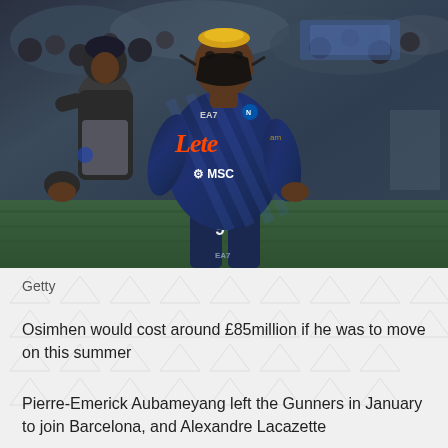[Figure (photo): A footballer wearing Napoli's dark navy blue jersey with number 9 and EA7/Lete/MSC logos, wearing a black protective face mask, celebrating or running during a match. A second person in dark clothing is partially visible to the left. Stadium crowd in the background.]
Getty
Osimhen would cost around £85million if he was to move on this summer
Pierre-Emerick Aubameyang left the Gunners in January to join Barcelona, and Alexandre Lacazette